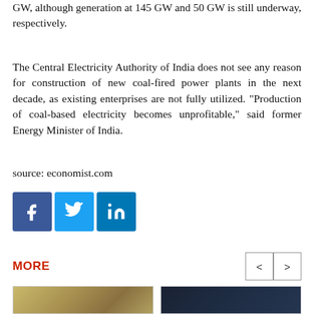GW, although generation at 145 GW and 50 GW is still underway, respectively.
The Central Electricity Authority of India does not see any reason for construction of new coal-fired power plants in the next decade, as existing enterprises are not fully utilized. "Production of coal-based electricity becomes unprofitable," said former Energy Minister of India.
source: economist.com
[Figure (infographic): Social media share buttons: Facebook (blue), Twitter (light blue), LinkedIn (dark blue)]
MORE
[Figure (photo): Photo of wheat or grain stalks in a field]
[Figure (photo): Photo of a smartphone showing a cryptocurrency trading app with BTC, ETH, LTC, NEO listings]